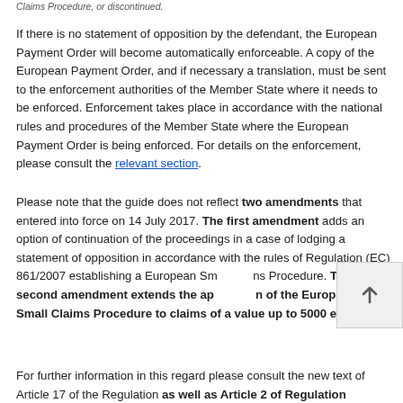Claims Procedure, or discontinued.
If there is no statement of opposition by the defendant, the European Payment Order will become automatically enforceable. A copy of the European Payment Order, and if necessary a translation, must be sent to the enforcement authorities of the Member State where it needs to be enforced. Enforcement takes place in accordance with the national rules and procedures of the Member State where the European Payment Order is being enforced. For details on the enforcement, please consult the relevant section.
Please note that the guide does not reflect two amendments that entered into force on 14 July 2017. The first amendment adds an option of continuation of the proceedings in a case of lodging a statement of opposition in accordance with the rules of Regulation (EC) 861/2007 establishing a European Small Claims Procedure. The second amendment extends the application of the European Small Claims Procedure to claims of a value up to 5000 euro.
For further information in this regard please consult the new text of Article 17 of the Regulation as well as Article 2 of Regulation